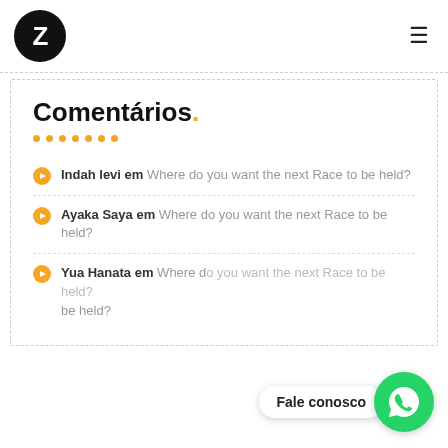[Figure (logo): Black circle with white letter Z logo]
Comentários.
Indah levi em Where do you want the next Race to be held?
Ayaka Saya em Where do you want the next Race to be held?
Yua Hanata em Where do you want the next Race to be held?
[Figure (illustration): WhatsApp floating button with 'Fale conosco' speech bubble and green WhatsApp icon circle]